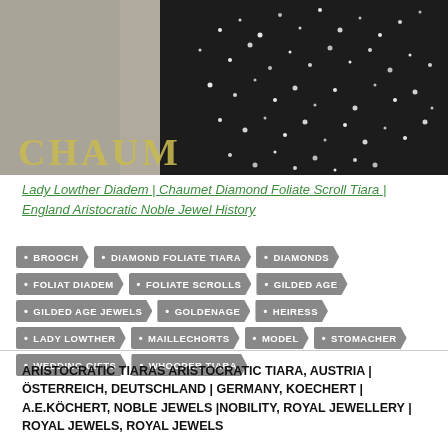[Figure (photo): Black and white photo of a person wearing a Chaumet diamond foliate scroll tiara/brooch, with the Chaumet brand name overlaid in gold text at the bottom left]
Lady Lowther Diadem | Chaumet Diamond Foliate Scroll Tiara | England Aristocratic Noble Jewel History
BROOCH
DIAMOND FOLIATE TIARA
DIAMONDS
FOLIAT DIADEM
FOLIATE SCROLLS
GILDED AGE
GILDED AGE JEWELS
GOLDENAGE
HEIRESS
LADY LOWTHER
MAILLECHORTS
MODEL
STOMACHER
WEDDING GIFTS
WHOOPER TIARA
ARISTOCRATIC TIARAS ARISTOCRATIC TIARA, AUSTRIA | ÖSTERREICH, DEUTSCHLAND | GERMANY, KOECHERT | A.E.KÖCHERT, NOBLE JEWELS |NOBILITY, ROYAL JEWELLERY | ROYAL JEWELS, ROYAL JEWELS